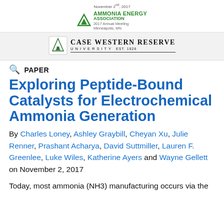November 2nd, 2017
AMMONIA ENERGY ASSOCIATION
2017 Annual Meeting
Minneapolis, MN
[Figure (logo): Case Western Reserve University logo with green leaf icon and bold serif text]
PAPER
Exploring Peptide-Bound Catalysts for Electrochemical Ammonia Generation
By Charles Loney, Ashley Graybill, Cheyan Xu, Julie Renner, Prashant Acharya, David Suttmiller, Lauren F. Greenlee, Luke Wiles, Katherine Ayers and Wayne Gellett on November 2, 2017
Today, most ammonia (NH3) manufacturing occurs via the